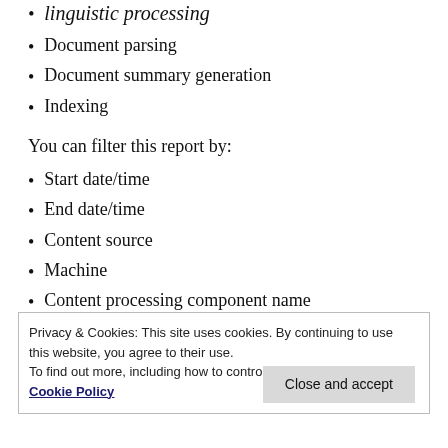linguistic processing
Document parsing
Document summary generation
Indexing
You can filter this report by:
Start date/time
End date/time
Content source
Machine
Content processing component name
Processing activity
Privacy & Cookies: This site uses cookies. By continuing to use this website, you agree to their use.
To find out more, including how to control cookies, see here: Cookie Policy
Close and accept